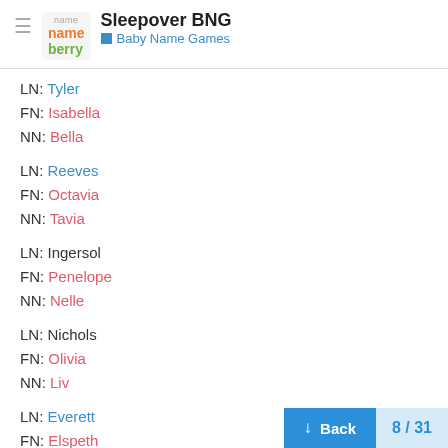Sleepover BNG — Baby Name Games (Nameberry)
LN: Tyler
FN: Isabella
NN: Bella
LN: Reeves
FN: Octavia
NN: Tavia
LN: Ingersol
FN: Penelope
NN: Nelle
LN: Nichols
FN: Olivia
NN: Liv
LN: Everett
FN: Elspeth
NN: Elsa